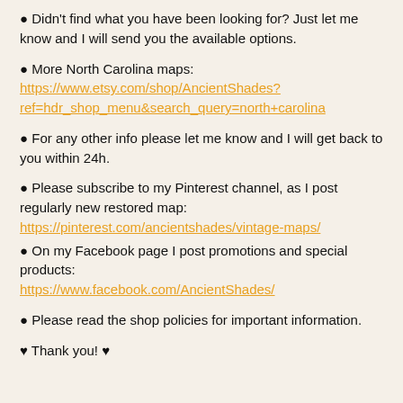Didn't find what you have been looking for? Just let me know and I will send you the available options.
More North Carolina maps: https://www.etsy.com/shop/AncientShades?ref=hdr_shop_menu&search_query=north+carolina
For any other info please let me know and I will get back to you within 24h.
Please subscribe to my Pinterest channel, as I post regularly new restored map: https://pinterest.com/ancientshades/vintage-maps/
On my Facebook page I post promotions and special products: https://www.facebook.com/AncientShades/
Please read the shop policies for important information.
♥ Thank you! ♥